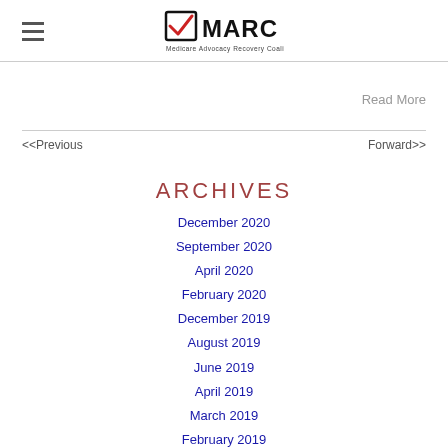MARC - Medicare Advocacy Recovery Coalition
Read More
<<Previous   Forward>>
ARCHIVES
December 2020
September 2020
April 2020
February 2020
December 2019
August 2019
June 2019
April 2019
March 2019
February 2019